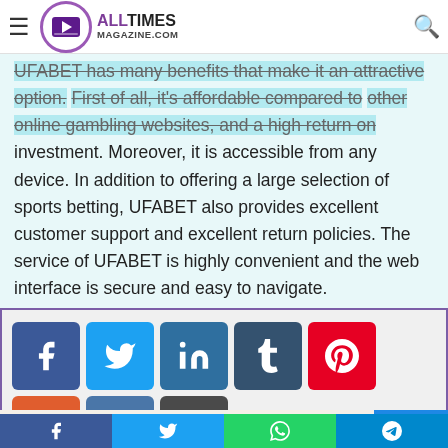AllTimes Magazine
UFABET has many benefits that make it an attractive option. First of all, it's affordable compared to other online gambling websites, and a high return on investment. Moreover, it is accessible from any device. In addition to offering a large selection of sports betting, UFABET also provides excellent customer support and excellent return policies. The service of UFABET is highly convenient and the web interface is secure and easy to navigate.
[Figure (infographic): Social media share buttons: Facebook, Twitter, LinkedIn, Tumblr, Pinterest, Reddit, VK, Email, Print]
[Figure (photo): Partial preview of an image at the bottom of the page]
Social share bar: Facebook, Twitter, WhatsApp, Telegram